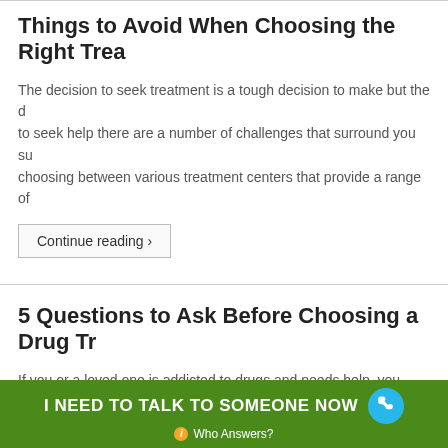Things to Avoid When Choosing the Right Trea
The decision to seek treatment is a tough decision to make but the d to seek help there are a number of challenges that surround you su choosing between various treatment centers that provide a range of
Continue reading ›
5 Questions to Ask Before Choosing a Drug Tr
If you or a loved one is addicted to drugs and needs help, you shou when trying to choose between the variety of addiction treatment ce rehabilitation hospital or outpatient drug rehabilitation program, or s
I NEED TO TALK TO SOMEONE NOW  Who Answers?